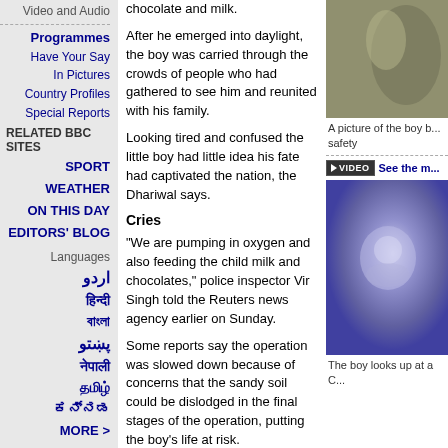Video and Audio
Programmes
Have Your Say
In Pictures
Country Profiles
Special Reports
RELATED BBC SITES
SPORT
WEATHER
ON THIS DAY
EDITORS' BLOG
Languages
اردو
हिन्दी
বাংলা
پښتو
नेपाली
தமிழ்
ಕನ್ನಡ
MORE >
chocolate and milk.
After he emerged into daylight, the boy was carried through the crowds of people who had gathered to see him and reunited with his family.
Looking tired and confused the little boy had little idea his fate had captivated the nation, the Dhariwal says.
Cries
"We are pumping in oxygen and also feeding the child milk and chocolates," police inspector Vir Singh told the Reuters news agency earlier on Sunday.
Some reports say the operation was slowed down because of concerns that the sandy soil could be dislodged in the final stages of the operation, putting the boy's life at risk.
Villagers first realised something was wrong when they heard his cries on Friday.
Construction workers had left the bore well, close to the village well, uncovered on Friday. The boy went to play in the area, locals say.
[Figure (photo): A picture of the boy being brought to safety]
A picture of the boy b... safety
See the ...
[Figure (photo): The boy looks up at a camera]
The boy looks up at a C...